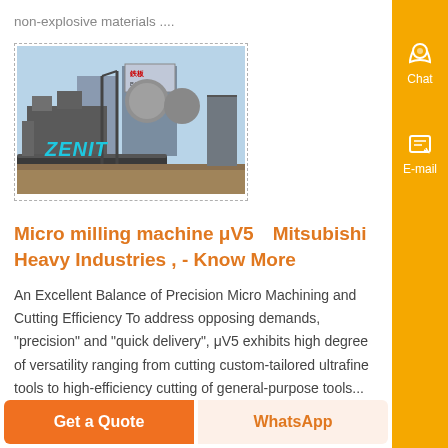non-explosive materials ....
[Figure (photo): Industrial milling/crushing machine equipment with ZENIT branding visible]
Micro milling machine μV5　Mitsubishi Heavy Industries , - Know More
An Excellent Balance of Precision Micro Machining and Cutting Efficiency To address opposing demands, "precision" and "quick delivery", μV5 exhibits high degree of versatility ranging from cutting custom-tailored ultrafine tools to high-efficiency cutting of general-purpose tools...
Get a Quote
WhatsApp